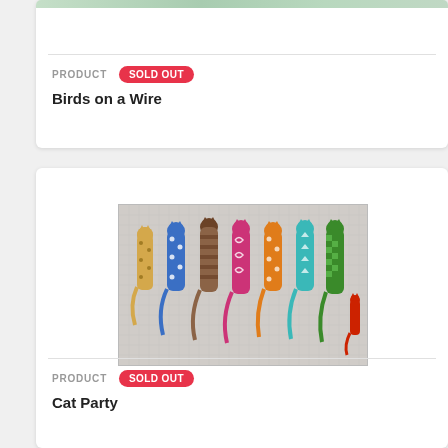[Figure (photo): Partial view of a needlepoint canvas showing birds on a wire, light green/teal color, top of card cropped]
PRODUCT  SOLD OUT
Birds on a Wire
[Figure (photo): Needlepoint canvas showing seven colorful patterned cats in silhouette on a grid background: leopard print, blue polka dot, brown striped, pink swirl, orange polka dot, teal triangle, green checker, and a small red cat]
PRODUCT  SOLD OUT
Cat Party